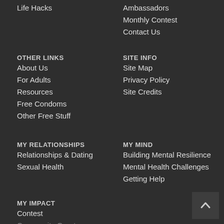Life Hacks
Ambassadors
Monthly Contest
Contact Us
OTHER LINKS
About Us
For Adults
Resources
Free Condoms
Other Free Stuff
SITE INFO
Site Map
Privacy Policy
Site Credits
MY RELATIONSHIPS
Relationships & Dating
Sexual Health
MY MIND
Building Mental Resilience
Mental Health Challenges
Getting Help
MY IMPACT
Contest
Community Grants